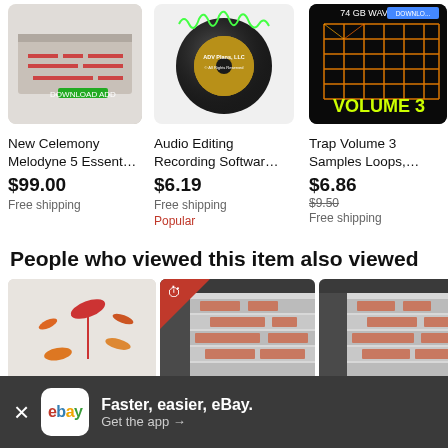[Figure (photo): Product image: New Celemony Melodyne 5 Essential software, showing audio editing interface screenshot]
New Celemony Melodyne 5 Essent…
$99.00
Free shipping
[Figure (photo): Product image: Audio Editing Recording Software CD from ADV Plans, LLC]
Audio Editing Recording Softwar…
$6.19
Free shipping
Popular
[Figure (photo): Product image: Trap Volume 3 Samples Loops, 74 GB WAV Library]
Trap Volume 3 Samples Loops,…
$6.86
$9.50
Free shipping
People who viewed this item also viewed
[Figure (photo): Melodyne 5 software product image with melodyne branding]
[Figure (screenshot): DAW software screenshot with timer/countdown badge overlay]
[Figure (screenshot): DAW software screenshot]
Faster, easier, eBay. Get the app →